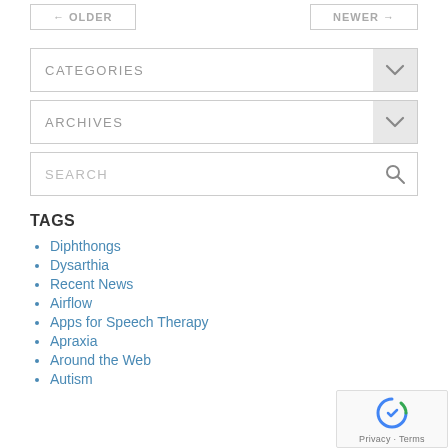← OLDER
NEWER →
CATEGORIES
ARCHIVES
SEARCH
TAGS
Diphthongs
Dysarthia
Recent News
Airflow
Apps for Speech Therapy
Apraxia
Around the Web
Autism